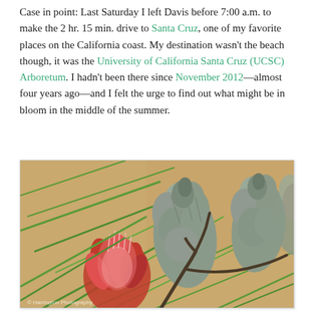Case in point: Last Saturday I left Davis before 7:00 a.m. to make the 2 hr. 15 min. drive to Santa Cruz, one of my favorite places on the California coast. My destination wasn't the beach though, it was the University of California Santa Cruz (UCSC) Arboretum. I hadn't been there since November 2012—almost four years ago—and I felt the urge to find out what might be in bloom in the middle of the summer.
[Figure (photo): Close-up photo of Protea flower buds — grey-green scaly cone-shaped buds and one open red/pink bloom — surrounded by narrow green leaves, against a sandy/earthy background.]